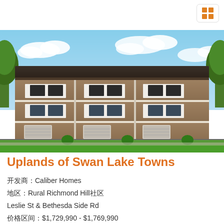[Figure (photo): Exterior rendering of Uplands of Swan Lake Towns — multi-storey townhomes with brown brick and white trim facades, blue sky with clouds, green trees]
Uplands of Swan Lake Towns
开发商：Caliber Homes
地区：Rural Richmond Hill社区
Leslie St & Bethesda Side Rd
价格区间：$1,729,990 - $1,769,990
2022年11月开盘时间 ...